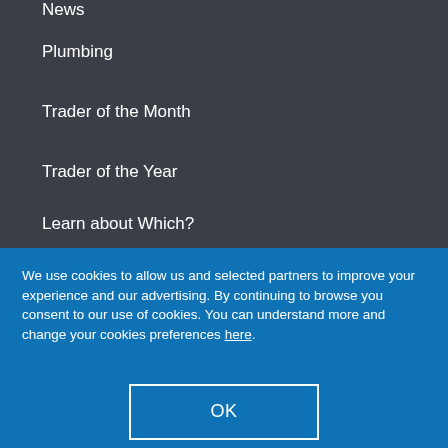News
Plumbing
Trader of the Month
Trader of the Year
Learn about Which?
We use cookies to allow us and selected partners to improve your experience and our advertising. By continuing to browse you consent to our use of cookies. You can understand more and change your cookies preferences here.
OK